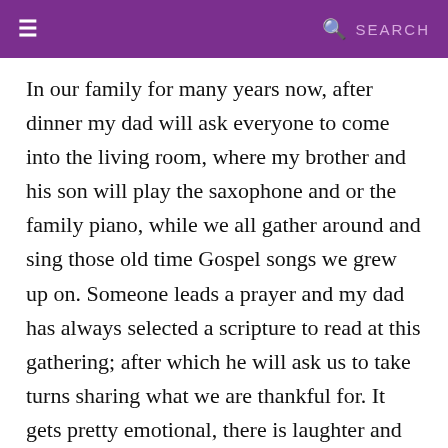≡   🔍 SEARCH
In our family for many years now, after dinner my dad will ask everyone to come into the living room, where my brother and his son will play the saxophone and or the family piano, while we all gather around and sing those old time Gospel songs we grew up on. Someone leads a prayer and my dad has always selected a scripture to read at this gathering; after which he will ask us to take turns sharing what we are thankful for. It gets pretty emotional, there is laughter and there are tears, it is such a special time. From the youngest to the oldest shares, we are all so blessed by hearing how God has worked and is working in each person's life, and how he continues to graciously supply our every need. Before we all go our separate ways we usually hear a few words of wisdom from my mom and dad